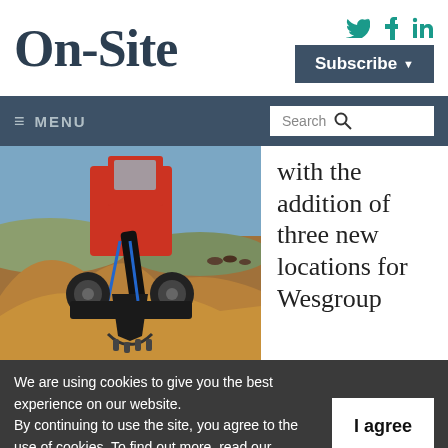On-Site
Twitter, Facebook, LinkedIn social icons | Subscribe button
≡ MENU | Search
[Figure (photo): Construction excavator digging in dirt with a grapple attachment, close-up action shot in an arid landscape]
with the addition of three new locations for Wesgroup
We are using cookies to give you the best experience on our website.
By continuing to use the site, you agree to the use of cookies. To find out more, read our privacy policy.
I agree